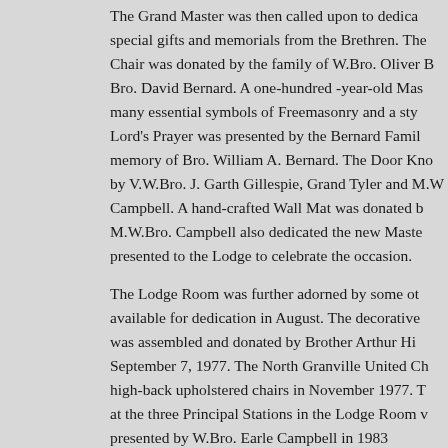The Grand Master was then called upon to dedicate special gifts and memorials from the Brethren. The Chair was donated by the family of W.Bro. Oliver B Bro. David Bernard. A one-hundred -year-old Mas many essential symbols of Freemasonry and a sty Lord's Prayer was presented by the Bernard Famil memory of Bro. William A. Bernard. The Door Kno by V.W.Bro. J. Garth Gillespie, Grand Tyler and M.W Campbell. A hand-crafted Wall Mat was donated b M.W.Bro. Campbell also dedicated the new Maste presented to the Lodge to celebrate the occasion.
The Lodge Room was further adorned by some ot available for dedication in August. The decorative was assembled and donated by Brother Arthur Hi September 7, 1977. The North Granville United Ch high-back upholstered chairs in November 1977. T at the three Principal Stations in the Lodge Room presented by W.Bro. Earle Campbell in 1983